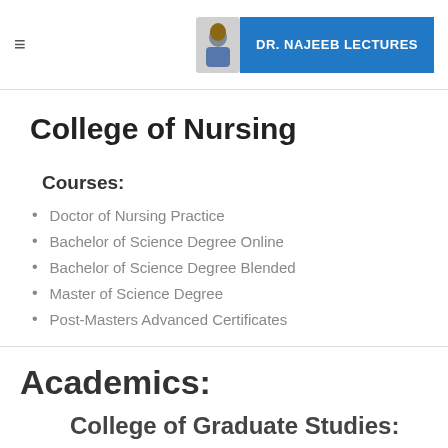DR. NAJEEB LECTURES
College of Nursing
Courses:
Doctor of Nursing Practice
Bachelor of Science Degree Online
Bachelor of Science Degree Blended
Master of Science Degree
Post-Masters Advanced Certificates
Academics:
College of Graduate Studies: